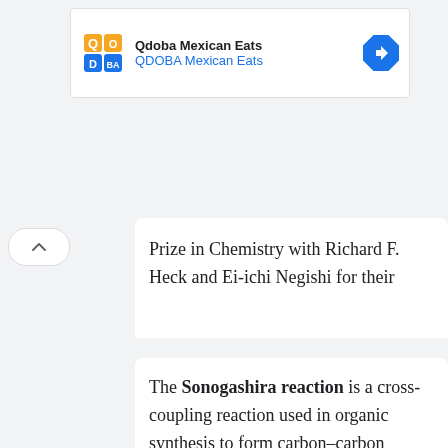[Figure (other): Qdoba Mexican Eats advertisement banner with logo and navigation arrow]
Prize in Chemistry with Richard F. Heck and Ei-ichi Negishi for their
The Sonogashira reaction is a cross-coupling reaction used in organic synthesis to form carbon–carbon bonds. It employs a palladium catalyst as well as copper co-catalyst to form a carbon–carbon bond between a terminal alkyne and an aryl or vinyl halide.